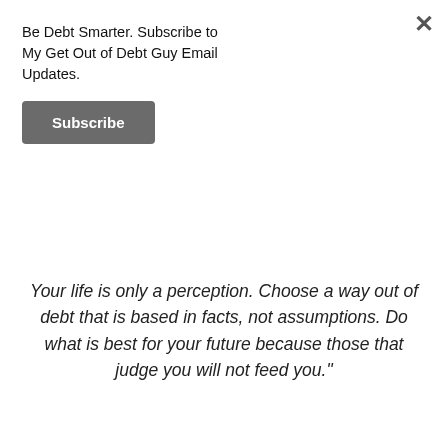Be Debt Smarter. Subscribe to My Get Out of Debt Guy Email Updates.
Subscribe
Your life is only a perception. Choose a way out of debt that is based in facts, not assumptions. Do what is best for your future because those that judge you will not feed you."
Dear Randall,
If you are not getting anywhere with the credit bureau you might want to click here to contact an attorney who can represent you in an affordable way.